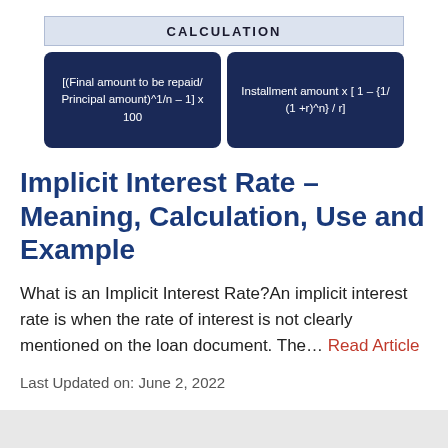[Figure (infographic): A calculation diagram with a header labeled CALCULATION and two dark navy blue rounded boxes: one showing '[(Final amount to be repaid/ Principal amount)^1/n – 1] x 100' and one showing 'Installment amount x [ 1 – {1/ (1 +r)^n} / r]']
Implicit Interest Rate – Meaning, Calculation, Use and Example
What is an Implicit Interest Rate?An implicit interest rate is when the rate of interest is not clearly mentioned on the loan document.  The… Read Article
Last Updated on: June 2, 2022